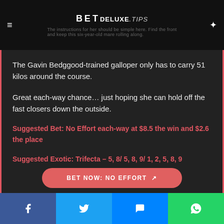BETDELUXE.TIPS
The Gavin Bedggood-trained galloper only has to carry 51 kilos around the course.
Great each-way chance… just hoping she can hold off the fast closers down the outside.
Suggested Bet: No Effort each-way at $8.5 the win and $2.6 the place
Suggested Exotic: Trifecta – 5, 8/ 5, 8, 9/ 1, 2, 5, 8, 9
BET NOW: NO EFFORT